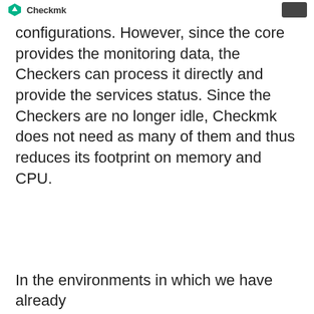Checkmk
configurations. However, since the core provides the monitoring data, the Checkers can process it directly and provide the services status. Since the Checkers are no longer idle, Checkmk does not need as many of them and thus reduces its footprint on memory and CPU.
In the environments in which we have already